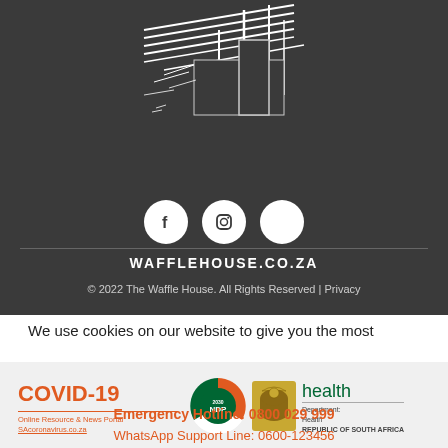[Figure (illustration): Waffle House logo illustration — black and white sketch of a building/structure on dark grey background]
[Figure (other): Three social media icons (Facebook, Instagram, and a third circle) displayed as white circles on dark background]
WAFFLEHOUSE.CO.ZA
© 2022 The Waffle House. All Rights Reserved | Privacy
We use cookies on our website to give you the most
[Figure (logo): COVID-19 Online Resource & News Portal SAcoronavirus.co.za logo with NDP 2030 and Department of Health Republic of South Africa logos]
Emergency Hotline: 0800 029 999
WhatsApp Support Line: 0600-123456